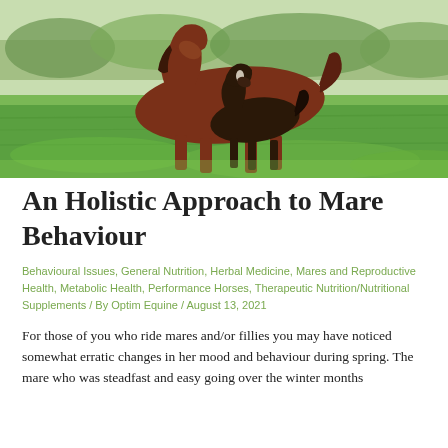[Figure (photo): A chestnut mare and a dark foal grazing together on a lush green grass field, with trees in the background under daylight.]
An Holistic Approach to Mare Behaviour
Behavioural Issues, General Nutrition, Herbal Medicine, Mares and Reproductive Health, Metabolic Health, Performance Horses, Therapeutic Nutrition/Nutritional Supplements / By Optim Equine / August 13, 2021
For those of you who ride mares and/or fillies you may have noticed somewhat erratic changes in her mood and behaviour during spring. The mare who was steadfast and easy going over the winter months